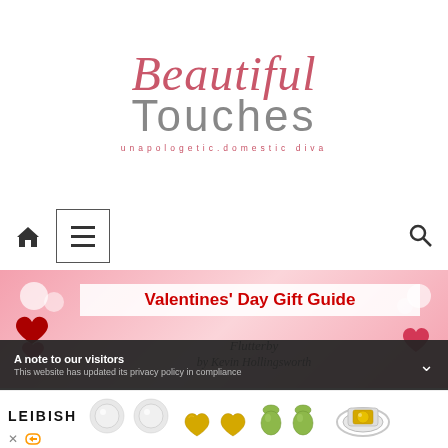[Figure (logo): Beautiful Touches blog logo with script 'Beautiful' in pink/rose and 'Touches' in grey sans-serif, with tagline 'unapologetic.domestic diva' in pink letterspaced text]
[Figure (screenshot): Website navigation bar with home icon, hamburger menu button in a box, and search icon on the right]
[Figure (photo): Valentines' Day Gift Guide banner with pink background, decorative hearts, bold red text reading 'Valentines' Day Gift Guide', and subtitle 'Flutterby by Kevin Hollingsworth']
A note to our visitors
This website has updated its privacy policy in compliance
[Figure (screenshot): LEIBISH jewelry advertisement banner showing round diamond earrings, heart-shaped yellow diamond earrings, green pear-shaped drops, and a yellow diamond halo ring]